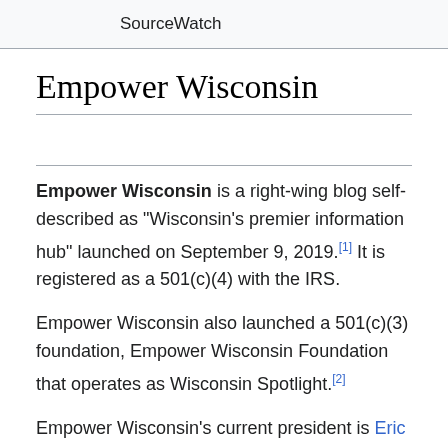SourceWatch
Empower Wisconsin
Empower Wisconsin is a right-wing blog self-described as "Wisconsin's premier information hub" launched on September 9, 2019.[1] It is registered as a 501(c)(4) with the IRS.
Empower Wisconsin also launched a 501(c)(3) foundation, Empower Wisconsin Foundation that operates as Wisconsin Spotlight.[2]
Empower Wisconsin's current president is Eric O'Keefe. O'Keefe, a rightwing political operative with ties to the